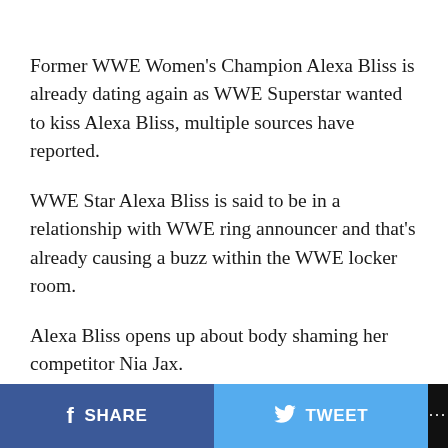Former WWE Women's Champion Alexa Bliss is already dating again as WWE Superstar wanted to kiss Alexa Bliss, multiple sources have reported.
WWE Star Alexa Bliss is said to be in a relationship with WWE ring announcer and that's already causing a buzz within the WWE locker room.
Alexa Bliss opens up about body shaming her competitor Nia Jax.
SHARE  TWEET  ...